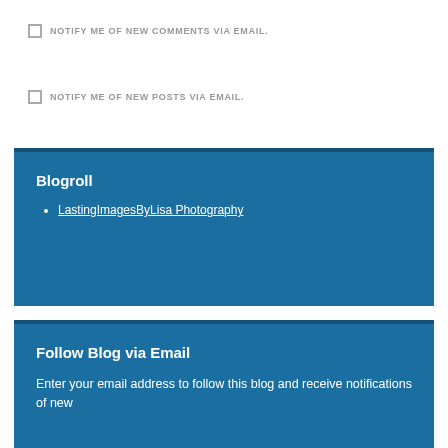NOTIFY ME OF NEW COMMENTS VIA EMAIL.
NOTIFY ME OF NEW POSTS VIA EMAIL.
Blogroll
LastingImagesByLisa Photography
Follow Blog via Email
Enter your email address to follow this blog and receive notifications of new